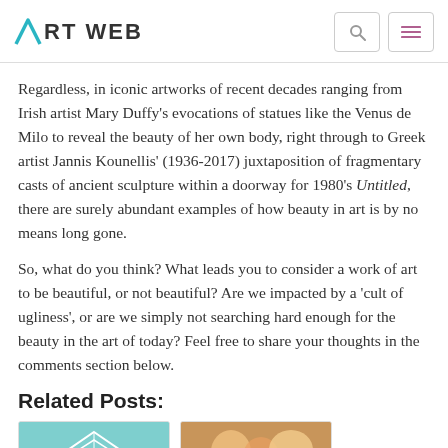ART WEB
Regardless, in iconic artworks of recent decades ranging from Irish artist Mary Duffy’s evocations of statues like the Venus de Milo to reveal the beauty of her own body, right through to Greek artist Jannis Kounellis’ (1936-2017) juxtaposition of fragmentary casts of ancient sculpture within a doorway for 1980’s Untitled, there are surely abundant examples of how beauty in art is by no means long gone.
So, what do you think? What leads you to consider a work of art to be beautiful, or not beautiful? Are we impacted by a ‘cult of ugliness’, or are we simply not searching hard enough for the beauty in the art of today? Feel free to share your thoughts in the comments section below.
Related Posts:
[Figure (illustration): Teal circular thumbnail with geometric diamond/polygon pattern]
[Figure (photo): Colorful photo thumbnail]